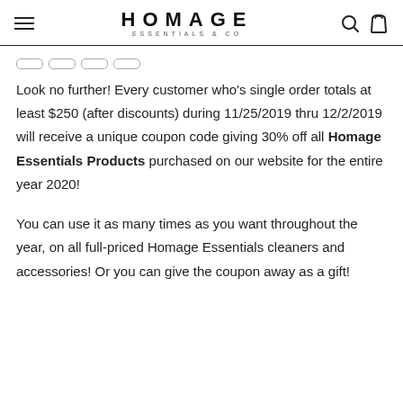HOMAGE ESSENTIALS & CO
Look no further!  Every customer who's single order totals at least $250 (after discounts) during 11/25/2019 thru 12/2/2019 will receive a unique coupon code giving 30% off all Homage Essentials Products purchased on our website for the entire year 2020!
You can use it as many times as you want throughout the year, on all full-priced Homage Essentials cleaners and accessories!  Or you can give the coupon away as a gift!